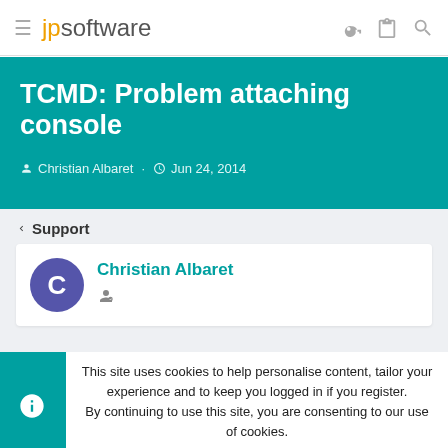jpsoftware
TCMD: Problem attaching console
Christian Albaret · Jun 24, 2014
< Support
Christian Albaret
This site uses cookies to help personalise content, tailor your experience and to keep you logged in if you register. By continuing to use this site, you are consenting to our use of cookies.
Accept   Learn more...